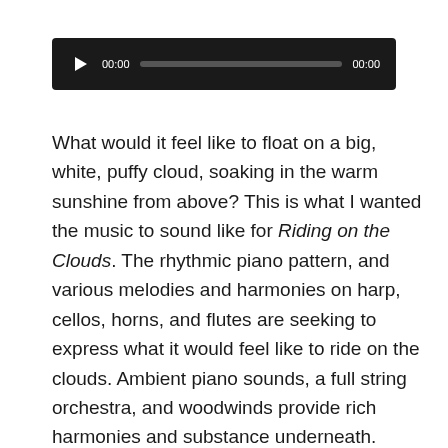[Figure (other): Audio player widget with play button, 00:00 start time, progress bar, and 00:00 end time on a dark background]
What would it feel like to float on a big, white, puffy cloud, soaking in the warm sunshine from above? This is what I wanted the music to sound like for Riding on the Clouds. The rhythmic piano pattern, and various melodies and harmonies on harp, cellos, horns, and flutes are seeking to express what it would feel like to ride on the clouds. Ambient piano sounds, a full string orchestra, and woodwinds provide rich harmonies and substance underneath.